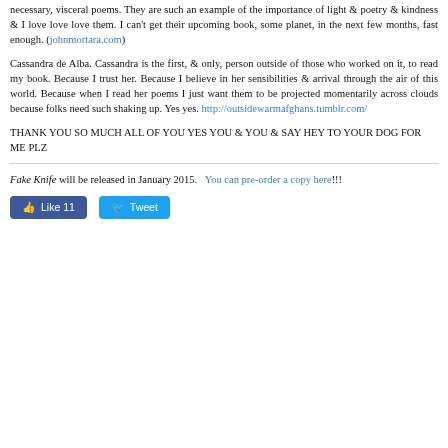necessary, visceral poems. They are such an example of the importance of light & poetry & kindness & I love love love them. I can't get their upcoming book, some planet, in the next few months, fast enough. (johnmortara.com)
Cassandra de Alba. Cassandra is the first, & only, person outside of those who worked on it, to read my book. Because I trust her. Because I believe in her sensibilities & arrival through the air of this world. Because when I read her poems I just want them to be projected momentarily across clouds because folks need such shaking up. Yes yes. http://outsidewarmafghans.tumblr.com/
THANK YOU SO MUCH ALL OF YOU YES YOU & YOU & SAY HEY TO YOUR DOG FOR ME PLZ
Fake Knife will be released in January 2015.  You can pre-order a copy here!!!